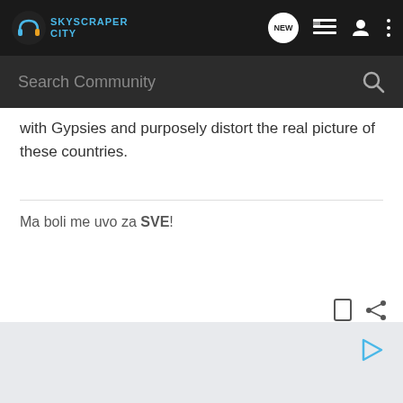SkyscraperCity
with Gypsies and purposely distort the real picture of these countries.
Ma boli me uvo za SVE!